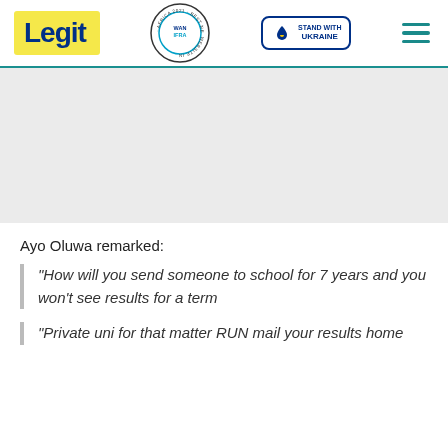Legit | WAN IFRA 2021 Best News Website in Africa | Stand with Ukraine
[Figure (other): Advertisement / placeholder grey area]
Ayo Oluwa remarked:
"How will you send someone to school for 7 years and you won't see results for a term
"Private uni for that matter RUN mail your results home